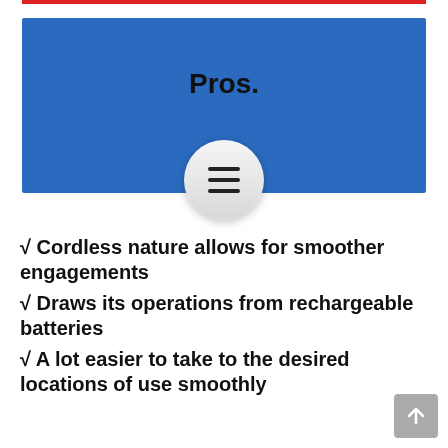Pros.
[Figure (illustration): Circular icon with three horizontal hamburger menu lines, overlapping the bottom edge of a blue header box]
√ Cordless nature allows for smoother engagements
√ Draws its operations from rechargeable batteries
√ A lot easier to take to the desired locations of use smoothly